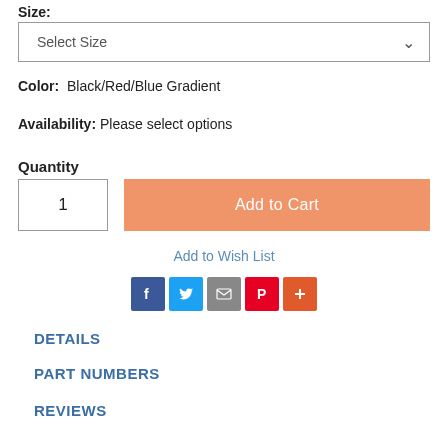Size:
Select Size
Color:  Black/Red/Blue Gradient
Availability: Please select options
Quantity
1
Add to Cart
Add to Wish List
[Figure (infographic): Social sharing icons: Facebook (blue), Twitter (blue), Email (gray), Pinterest (red), More/Plus (orange)]
DETAILS
PART NUMBERS
REVIEWS